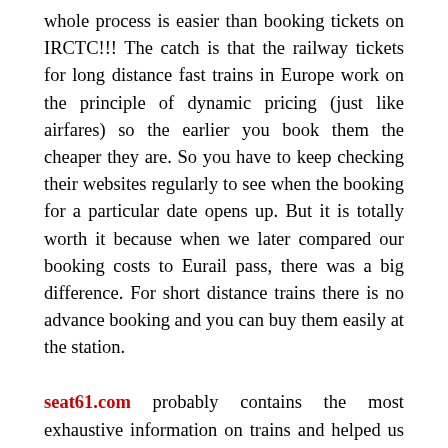whole process is easier than booking tickets on IRCTC!!! The catch is that the railway tickets for long distance fast trains in Europe work on the principle of dynamic pricing (just like airfares) so the earlier you book them the cheaper they are. So you have to keep checking their websites regularly to see when the booking for a particular date opens up. But it is totally worth it because when we later compared our booking costs to Eurail pass, there was a big difference. For short distance trains there is no advance booking and you can buy them easily at the station.
seat61.com probably contains the most exhaustive information on trains and helped us tremendously during our planning.
Step 6: Make day-to-day Itinerary